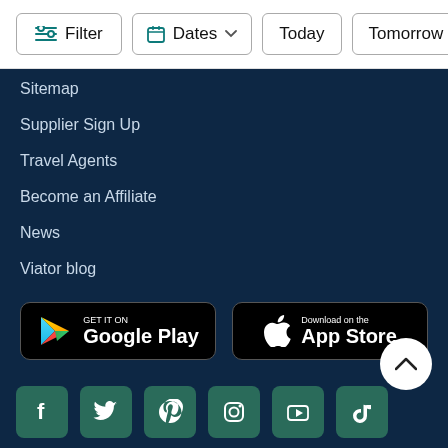Filter | Dates | Today | Tomorrow
Sitemap
Supplier Sign Up
Travel Agents
Become an Affiliate
News
Viator blog
[Figure (screenshot): Google Play store download button]
[Figure (screenshot): Apple App Store download button]
[Figure (infographic): Social media icons: Facebook, Twitter, Pinterest, Instagram, YouTube, TikTok]
[Figure (logo): Viator logo in white text]